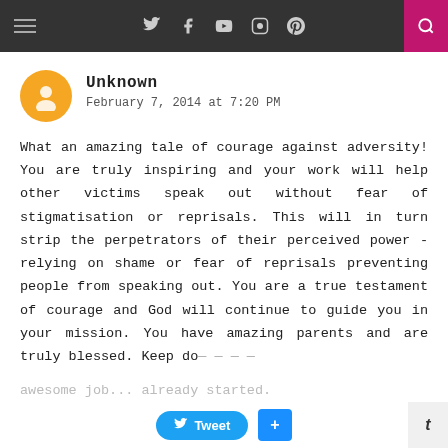Navigation bar with social icons: Twitter, Facebook, YouTube, Instagram, Pinterest, Search
Unknown
February 7, 2014 at 7:20 PM
What an amazing tale of courage against adversity! You are truly inspiring and your work will help other victims speak out without fear of stigmatisation or reprisals. This will in turn strip the perpetrators of their perceived power - relying on shame or fear of reprisals preventing people from speaking out. You are a true testament of courage and God will continue to guide you in your mission. You have amazing parents and are truly blessed. Keep do... awesome job... already started.